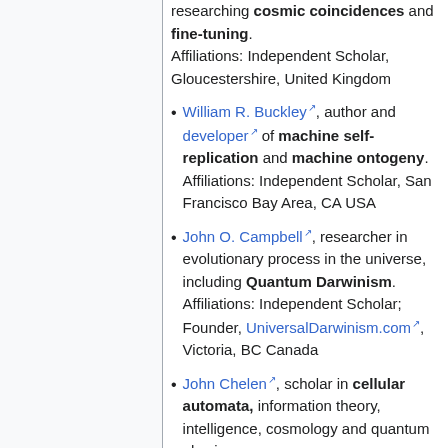researching cosmic coincidences and fine-tuning. Affiliations: Independent Scholar, Gloucestershire, United Kingdom
William R. Buckley, author and developer of machine self-replication and machine ontogeny. Affiliations: Independent Scholar, San Francisco Bay Area, CA USA
John O. Campbell, researcher in evolutionary process in the universe, including Quantum Darwinism. Affiliations: Independent Scholar; Founder, UniversalDarwinism.com, Victoria, BC Canada
John Chelen, scholar in cellular automata, information theory, intelligence, cosmology and quantum physics.